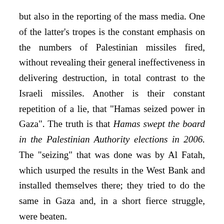but also in the reporting of the mass media. One of the latter’s tropes is the constant emphasis on the numbers of Palestinian missiles fired, without revealing their general ineffectiveness in delivering destruction, in total contrast to the Israeli missiles. Another is their constant repetition of a lie, that “Hamas seized power in Gaza”. The truth is that Hamas swept the board in the Palestinian Authority elections in 2006. The “seizing” that was done was by Al Fatah, which usurped the results in the West Bank and installed themselves there; they tried to do the same in Gaza and, in a short fierce struggle, were beaten.
But the Western powers decided that Hamas was illegitimately in power, seized funds due to it and